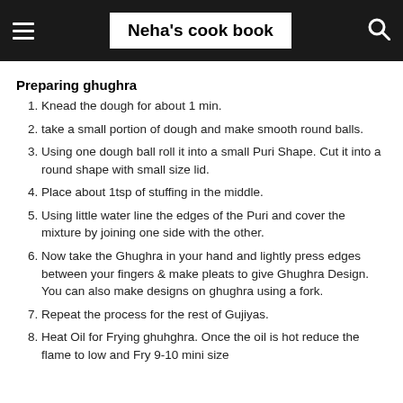Neha's cook book
Preparing ghughra
Knead the dough for about 1 min.
take a small portion of dough and make smooth round balls.
Using one dough ball roll it into a small Puri Shape. Cut it into a round shape with small size lid.
Place about 1tsp of stuffing in the middle.
Using little water line the edges of the Puri and cover the mixture by joining one side with the other.
Now take the Ghughra in your hand and lightly press edges between your fingers & make pleats to give Ghughra Design. You can also make designs on ghughra using a fork.
Repeat the process for the rest of Gujiyas.
Heat Oil for Frying ghuhghra. Once the oil is hot reduce the flame to low and Fry 9-10 mini size